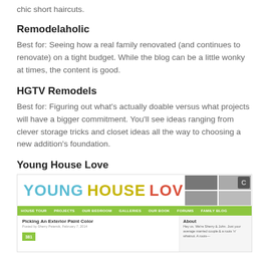chic short haircuts.
Remodelaholic
Best for: Seeing how a real family renovated (and continues to renovate) on a tight budget. While the blog can be a little wonky at times, the content is good.
HGTV Remodels
Best for: Figuring out what's actually doable versus what projects will have a bigger commitment. You'll see ideas ranging from clever storage tricks and closet ideas all the way to choosing a new addition's foundation.
Young House Love
[Figure (screenshot): Screenshot of the Young House Love blog website showing the colorful logo with YOUNG in teal, HOUSE in yellow, LOVE in red, a green navigation bar with menu items (HOUSE TOUR, PROJECTS, OUR BEDROOM, GALLERIES, OUR BOOK, FORUMS, FAMILY BLOG), and a blog post titled 'Picking An Exterior Paint Color' with a comment count of 381.]